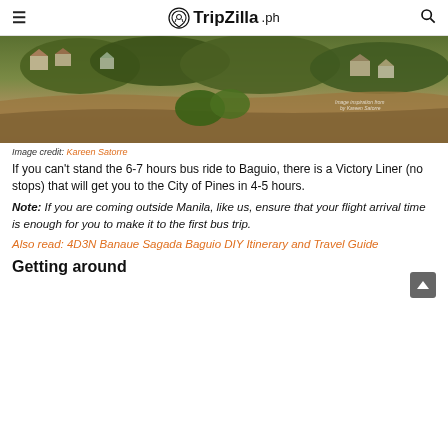☰  TripZilla.ph  🔍
[Figure (photo): Hillside landscape with houses, trees and vegetation typical of Baguio area, Philippines. Photo credit: Kareen Satorre.]
Image credit: Kareen Satorre
If you can't stand the 6-7 hours bus ride to Baguio, there is a Victory Liner (no stops) that will get you to the City of Pines in 4-5 hours.
Note: If you are coming outside Manila, like us, ensure that your flight arrival time is enough for you to make it to the first bus trip.
Also read: 4D3N Banaue Sagada Baguio DIY Itinerary and Travel Guide
Getting around